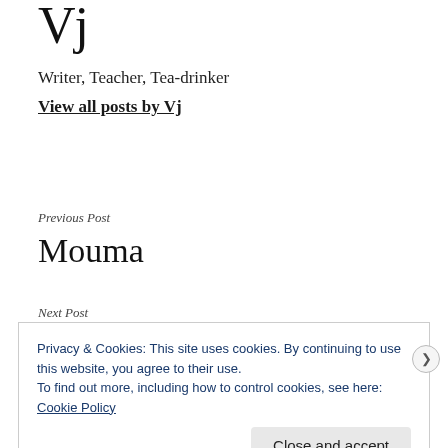Vj
Writer, Teacher, Tea-drinker
View all posts by Vj
Previous Post
Mouma
Next Post
Privacy & Cookies: This site uses cookies. By continuing to use this website, you agree to their use.
To find out more, including how to control cookies, see here: Cookie Policy
Close and accept